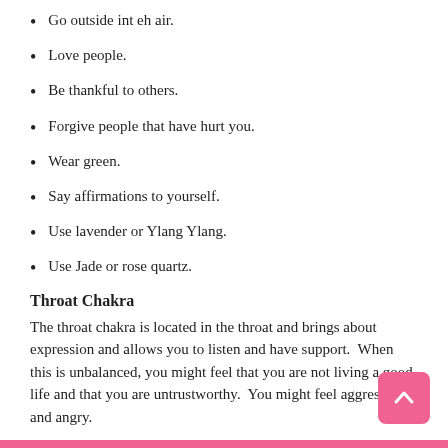Go outside int eh air.
Love people.
Be thankful to others.
Forgive people that have hurt you.
Wear green.
Say affirmations to yourself.
Use lavender or Ylang Ylang.
Use Jade or rose quartz.
Throat Chakra
The throat chakra is located in the throat and brings about expression and allows you to listen and have support.  When this is unbalanced, you might feel that you are not living a good life and that you are untrustworthy.  You might feel aggressive and angry.
You might suffer from sinus infections and neck and teeth issues.
Here are some things you can do: